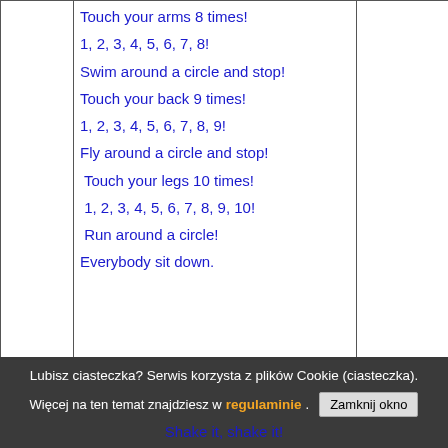|  | Touch your arms 8 times!
1, 2, 3, 4, 5, 6, 7, 8!
Swim around a circle and stop!
Touch your back 9 times!
1, 2, 3, 4, 5, 6, 7, 8, 9!
Fly around a circle and stop!
Touch your legs 10 times!
1, 2, 3, 4, 5, 6, 7, 8, 9, 10!
Run around a circle!
Everybody sit down. |  |
|  | https://www.youtube.com/watch?v=gN3pn_alymA |  |
Lubisz ciasteczka? Serwis korzysta z plików Cookie (ciasteczka). Więcej na ten temat znajdziesz w regulaminie.
Shake it, shake it!